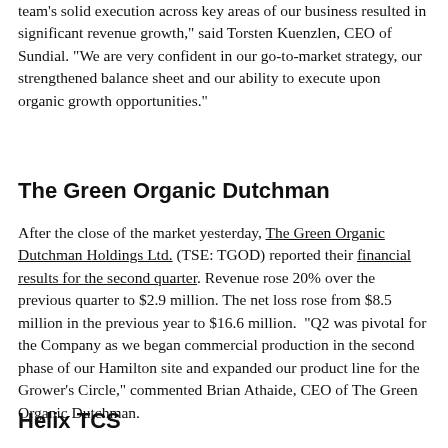team's solid execution across key areas of our business resulted in significant revenue growth," said Torsten Kuenzlen, CEO of Sundial. "We are very confident in our go-to-market strategy, our strengthened balance sheet and our ability to execute upon organic growth opportunities."
The Green Organic Dutchman
After the close of the market yesterday, The Green Organic Dutchman Holdings Ltd. (TSE: TGOD) reported their financial results for the second quarter. Revenue rose 20% over the previous quarter to $2.9 million. The net loss rose from $8.5 million in the previous year to $16.6 million. "Q2 was pivotal for the Company as we began commercial production in the second phase of our Hamilton site and expanded our product line for the Grower's Circle," commented Brian Athaide, CEO of The Green Organic Dutchman.
Helix TCS